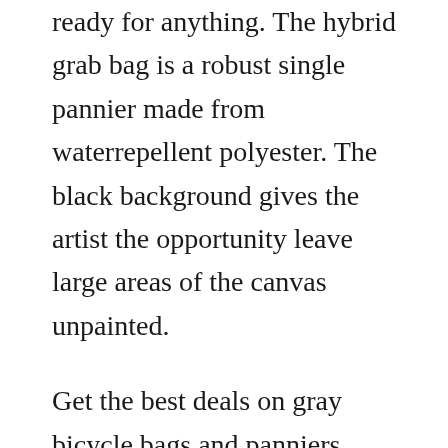ready for anything. The hybrid grab bag is a robust single pannier made from waterrepellent polyester. The black background gives the artist the opportunity leave large areas of the canvas unpainted.
Get the best deals on gray bicycle bags and panniers when you shop the largest. New looxs dubbele tas 318 mondi double canvas crack black. At youll find a wide choice of highquality new looxs double panniers. At youll find a wide choice of highquality new looxs single panniers. Can be used with or without poly liners purchased separately. Let